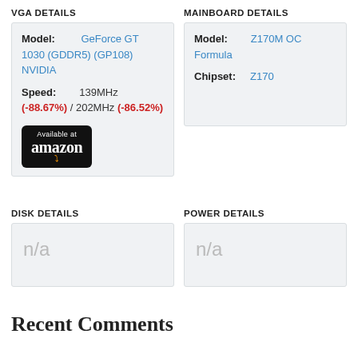VGA DETAILS
| Field | Value |
| --- | --- |
| Model: | GeForce GT 1030 (GDDR5) (GP108) NVIDIA |
| Speed: | 139MHz (-88.67%) / 202MHz (-86.52%) |
MAINBOARD DETAILS
| Field | Value |
| --- | --- |
| Model: | Z170M OC Formula |
| Chipset: | Z170 |
DISK DETAILS
n/a
POWER DETAILS
n/a
Recent Comments